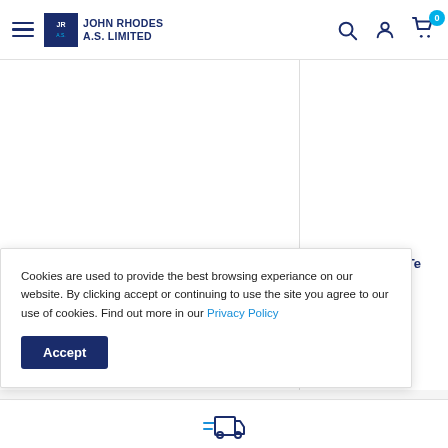John Rhodes A.S. Limited — navigation header with logo, hamburger menu, search, account, and cart icons
Vermorel 2000 Pro Comfort Knapsack Sprayer
£150.00  £182.07
Used Berthoud Te... 30mtr 2014
Cookies are used to provide the best browsing experiance on our website. By clicking accept or continuing to use the site you agree to our use of cookies. Find out more in our Privacy Policy
[Figure (screenshot): Accept button for cookie consent]